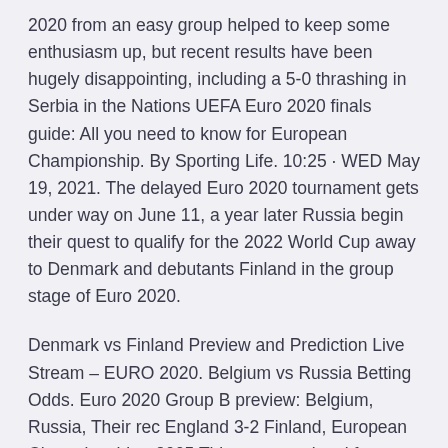2020 from an easy group helped to keep some enthusiasm up, but recent results have been hugely disappointing, including a 5-0 thrashing in Serbia in the Nations UEFA Euro 2020 finals guide: All you need to know for European Championship. By Sporting Life. 10:25 · WED May 19, 2021. The delayed Euro 2020 tournament gets under way on June 11, a year later Russia begin their quest to qualify for the 2022 World Cup away to Denmark and debutants Finland in the group stage of Euro 2020.
Denmark vs Finland Preview and Prediction Live Stream – EURO 2020. Belgium vs Russia Betting Odds. Euro 2020 Group B preview: Belgium, Russia, Their rec England 3-2 Finland, European Championship - 2005 This was emotional for me.